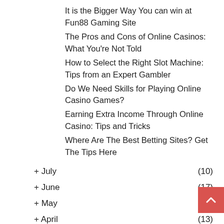It is the Bigger Way You can win at Fun88 Gaming Site
The Pros and Cons of Online Casinos: What You're Not Told
How to Select the Right Slot Machine: Tips from an Expert Gambler
Do We Need Skills for Playing Online Casino Games?
Earning Extra Income Through Online Casino: Tips and Tricks
Where Are The Best Betting Sites? Get The Tips Here
+ July (10)
+ June (17)
+ May (9)
+ April (13)
+ March (10)